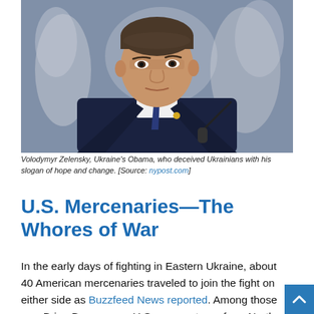[Figure (photo): Close-up portrait of Volodymyr Zelensky in a dark navy suit and blue tie, facing slightly left, with a microphone visible at right. Blurred figures in background.]
Volodymyr Zelensky, Ukraine's Obama, who deceived Ukrainians with his slogan of hope and change. [Source: nypost.com]
U.S. Mercenaries—The Whores of War
In the early days of fighting in Eastern Ukraine, about 40 American mercenaries traveled to join the fight on either side as Buzzfeed News reported. Among those was Brian Boyenger, a U.S. army veteran from North Carolina, who is alleged to have recruited Georgian mercenaries during the Maidan Square protests to carry out black-flag terrorist